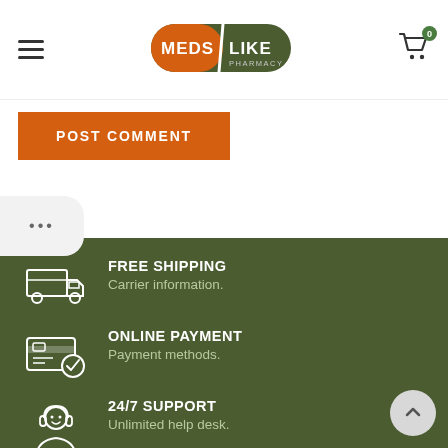[Figure (logo): MedsLike Pharmacy logo - orange and dark green pill-shaped logo with white text]
POST COMMENT
[Figure (screenshot): Three dots button on left side]
FREE SHIPPING
Carrier information.
ONLINE PAYMENT
Payment methods.
24/7 SUPPORT
Unlimited help desk.